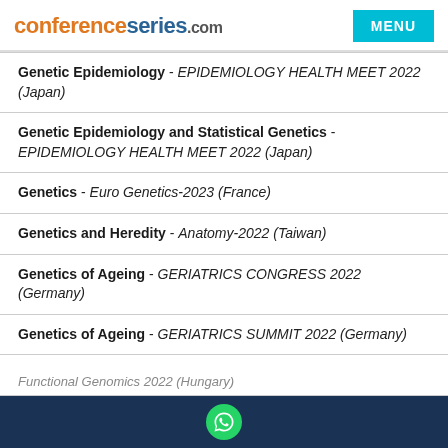conferenceseries.com
Genetic Epidemiology - EPIDEMIOLOGY HEALTH MEET 2022 (Japan)
Genetic Epidemiology and Statistical Genetics - EPIDEMIOLOGY HEALTH MEET 2022 (Japan)
Genetics - Euro Genetics-2023 (France)
Genetics and Heredity - Anatomy-2022 (Taiwan)
Genetics of Ageing - GERIATRICS CONGRESS 2022 (Germany)
Genetics of Ageing - GERIATRICS SUMMIT 2022 (Germany)
Genetics of Lung Disorders - Euro Pulmonology 2022 (France)
Functional Genomics 2022 (Hungary)